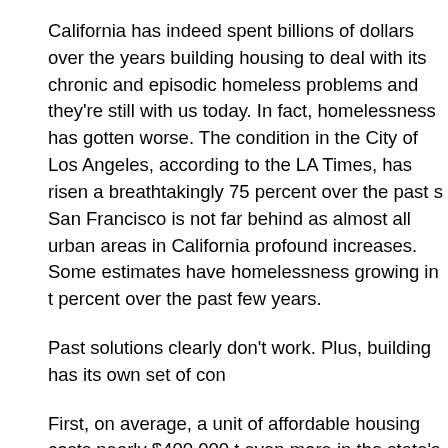California has indeed spent billions of dollars over the years building housing to deal with its chronic and episodic homeless problems and they're still with us today. In fact, homelessness has gotten worse. The condition in the City of Los Angeles, according to the LA Times, has risen a breathtakingly 75 percent over the past s… San Francisco is not far behind as almost all urban areas in California… profound increases. Some estimates have homelessness growing in t… percent over the past few years.
Past solutions clearly don't work. Plus, building has its own set of con…
First, on average, a unit of affordable housing costs nearly $400,000 t… even more in the state's high-cost areas. Given that situation, the hist… Proposition 1 ($4 billion) will barely support 10,000 units. Proposition … much as its sister measure, may only build 5,000 units of housing for … ill – that's barely enough to match the population of living on the stree…
Secondly, getting past the legions of activist neighbors who frown on … kind, will take some doing. A 150-unit project for seniors was just disn… Francisco neighborhood after opponents spoke up. NIMBYs have jus… t… d… tl… d… t i S D… A l M F…